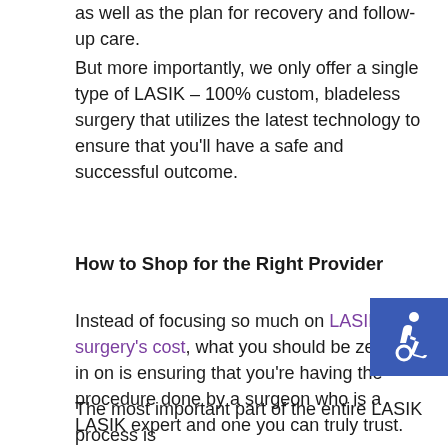as well as the plan for recovery and follow-up care.
But more importantly, we only offer a single type of LASIK – 100% custom, bladeless surgery that utilizes the latest technology to ensure that you'll have a safe and successful outcome.
How to Shop for the Right Provider
Instead of focusing so much on LASIK eye surgery's cost, what you should be zeroing in on is ensuring that you're having the procedure done by a surgeon who is a LASIK expert and one you can truly trust.
You deserve a surgeon with the experience, technology and expertise to provide you with lasting, and clear 20/20 vision? We think you do!
The most important part of the entire LASIK process is